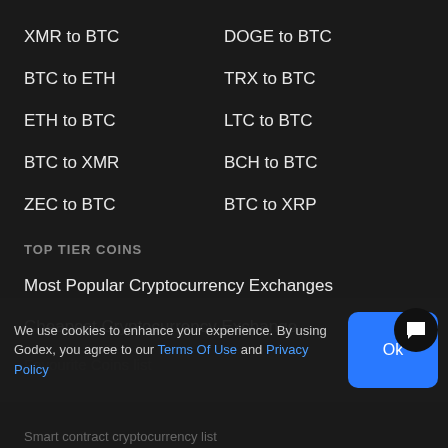XMR to BTC
DOGE to BTC
BTC to ETH
TRX to BTC
ETH to BTC
LTC to BTC
BTC to XMR
BCH to BTC
ZEC to BTC
BTC to XRP
TOP TIER COINS
Most Popular Cryptocurrency Exchanges
Cheapest Cryptocurrency Exchange
We use cookies to enhance your experience. By using Godex, you agree to our Terms Of Use and Privacy Policy